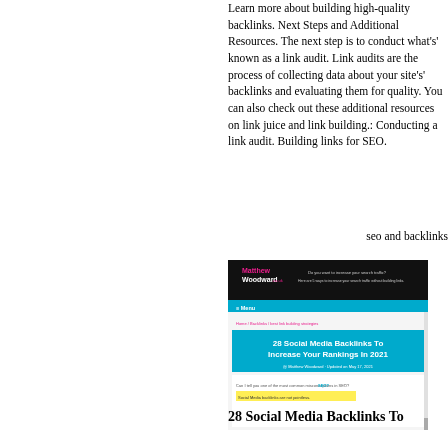Learn more about building high-quality backlinks. Next Steps and Additional Resources. The next step is to conduct what's' known as a link audit. Link audits are the process of collecting data about your site's' backlinks and evaluating them for quality. You can also check out these additional resources on link juice and link building.: Conducting a link audit. Building links for SEO.
seo and backlinks
[Figure (screenshot): Screenshot of matthewwoodward.co.uk website showing the article '28 Social Media Backlinks To Increase Your Rankings In 2021']
28 Social Media Backlinks To